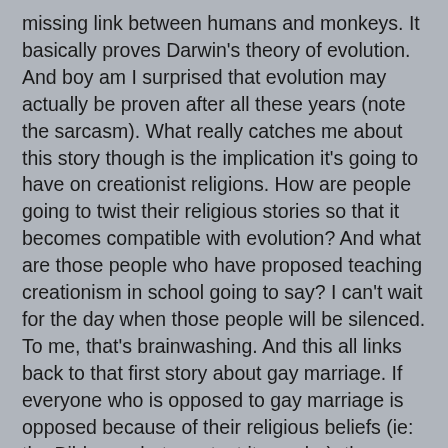missing link between humans and monkeys. It basically proves Darwin's theory of evolution. And boy am I surprised that evolution may actually be proven after all these years (note the sarcasm). What really catches me about this story though is the implication it's going to have on creationist religions. How are people going to twist their religious stories so that it becomes compatible with evolution? And what are those people who have proposed teaching creationism in school going to say? I can't wait for the day when those people will be silenced. To me, that's brainwashing. And this all links back to that first story about gay marriage. If everyone who is opposed to gay marriage is opposed because of their religious beliefs (ie: the Bible or whatever text it may be), then hopefully this monkey link is going to damage a lot of people's belief in that written word. Unfortunately, instead of embracing science, there will be a debate about the validity of this scientific proof. And we'll go on believing a book that was written by unknown people 3 thousand years ago and more.
The last story I read, which doesn't really have anything to do with the previous two, is the peace deal that the Taliban is